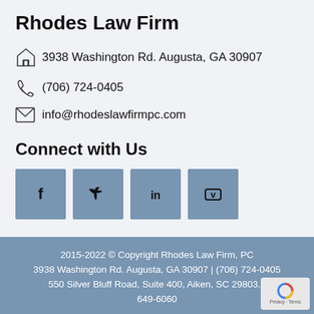Rhodes Law Firm
3938 Washington Rd. Augusta, GA 30907
(706) 724-0405
info@rhodeslawfirmpc.com
Connect with Us
[Figure (other): Social media icon buttons for Facebook, Twitter, LinkedIn, and Vimeo]
2015-2022 © Copyright Rhodes Law Firm, PC
3938 Washington Rd. Augusta, GA 30907 | (706) 724-0405
550 Silver Bluff Road, Suite 400, Aiken, SC 29803. | 649-6060